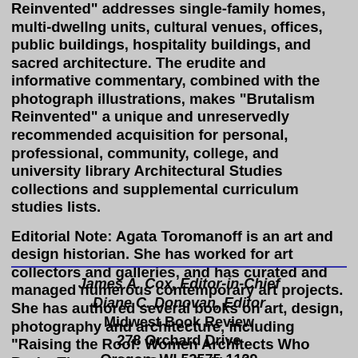Reinvented" addresses single-family homes, multi-dwelling units, cultural venues, offices, public buildings, hospitality buildings, and sacred architecture. The erudite and informative commentary, combined with the photograph illustrations, makes "Brutalism Reinvented" a unique and unreservedly recommended acquisition for personal, professional, community, college, and university library Architectural Studies collections and supplemental curriculum studies lists.
Editorial Note: Agata Toromanoff is an art and design historian. She has worked for art collectors and galleries, and has curated and managed numerous contemporary art projects. She has authored several books on art, design, photography and architecture, including "Raising the Roof: Women Architects Who Broke Through the Glass Ceiling".
James A. Cox, Editor-in-Chief
Diane C. Donovan, Editor
Midwest Book Review
278 Orchard Drive
Oregon, WI 53575-1129
phone: 1-608-835-7937
e-mail: mbr@execpc.com